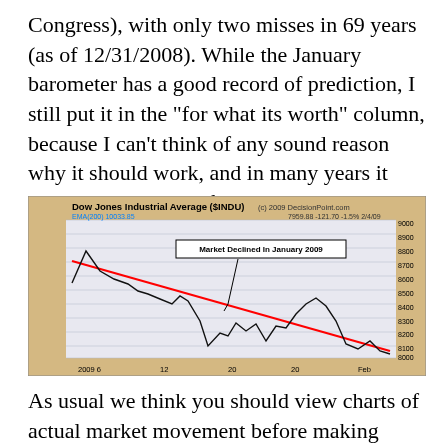Congress), with only two misses in 69 years (as of 12/31/2008). While the January barometer has a good record of prediction, I still put it in the "for what its worth" column, because I can't think of any sound reason why it should work, and in many years it seems that a correct forecast is simply serendipity.
[Figure (line-chart): Line chart showing Dow Jones Industrial Average declining in January 2009, with a red downtrend line and annotation 'Market Declined In January 2009'. X-axis shows dates from Jan 6 to Feb. Y-axis ranges from 8000 to 9000.]
As usual we think you should view charts of actual market movement before making decisions based on reported average performance. For example, in 1987 the